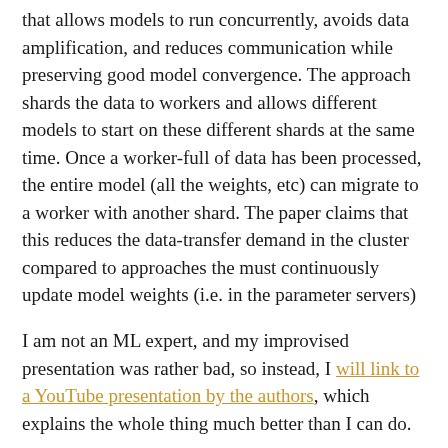that allows models to run concurrently, avoids data amplification, and reduces communication while preserving good model convergence. The approach shards the data to workers and allows different models to start on these different shards at the same time. Once a worker-full of data has been processed, the entire model (all the weights, etc) can migrate to a worker with another shard. The paper claims that this reduces the data-transfer demand in the cluster compared to approaches the must continuously update model weights (i.e. in the parameter servers)
I am not an ML expert, and my improvised presentation was rather bad, so instead, I will link to a YouTube presentation by the authors, which explains the whole thing much better than I can do.
Discussion
1) Still a money problem. Cerebro aims to improve the efficiency of hyperparameter tuning, but it still resembles